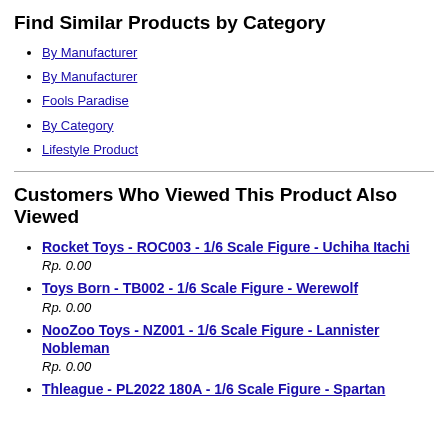Find Similar Products by Category
By Manufacturer
By Manufacturer
Fools Paradise
By Category
Lifestyle Product
Customers Who Viewed This Product Also Viewed
Rocket Toys - ROC003 - 1/6 Scale Figure - Uchiha Itachi
Rp. 0.00
Toys Born - TB002 - 1/6 Scale Figure - Werewolf
Rp. 0.00
NooZoo Toys - NZ001 - 1/6 Scale Figure - Lannister Nobleman
Rp. 0.00
Thleague - PL2022 180A - 1/6 Scale Figure - Spartan